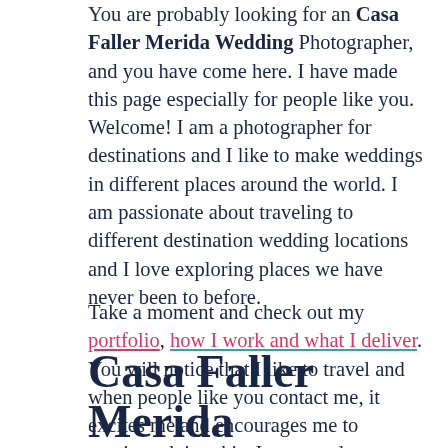You are probably looking for an Casa Faller Merida Wedding Photographer, and you have come here. I have made this page especially for people like you. Welcome! I am a photographer for destinations and I like to make weddings in different places around the world. I am passionate about traveling to different destination wedding locations and I love exploring places we have never been to before.
Take a moment and check out my portfolio, how I work and what I deliver. You will notice that I like to travel and when people like you contact me, it excites me and encourages me to continue doing this. I want to document weddings around the world. Also in Casa Faller Merida and its surroundings.
Casa Faller Merida